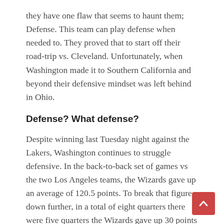they have one flaw that seems to haunt them; Defense. This team can play defense when needed to. They proved that to start off their road-trip vs. Cleveland. Unfortunately, when Washington made it to Southern California and beyond their defensive mindset was left behind in Ohio.
Defense? What defense?
Despite winning last Tuesday night against the Lakers, Washington continues to struggle defensive. In the back-to-back set of games vs the two Los Angeles teams, the Wizards gave up an average of 120.5 points. To break that figure down further, in a total of eight quarters there were five quarters the Wizards gave up 30 points or more.